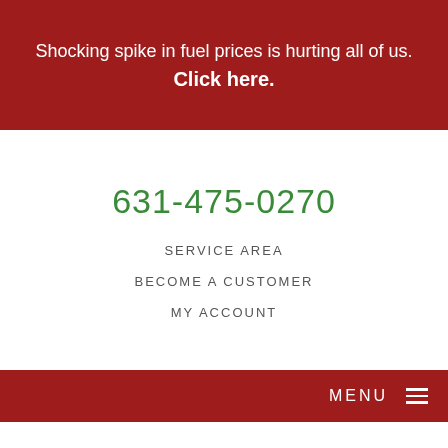Shocking spike in fuel prices is hurting all of us. Click here.
631-475-0270
SERVICE AREA
BECOME A CUSTOMER
MY ACCOUNT
MENU
Home » Make Your Savings Permanent
Written on: May 9, 2016